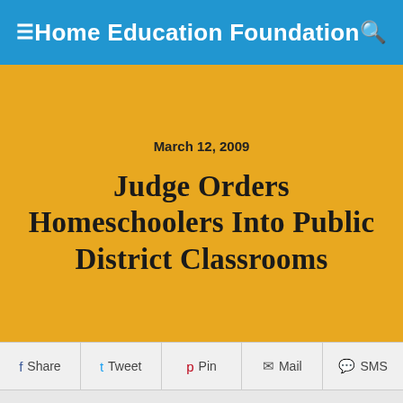Home Education Foundation
March 12, 2009
Judge Orders Homeschoolers Into Public District Classrooms
Share  Tweet  Pin  Mail  SMS
http://www.worldnetdaily.com/index.php?fa=PAGE.view&pageId=91397
YOUR GOVERNMENT AT WORK
Judge orders homeschoolers into public district classrooms